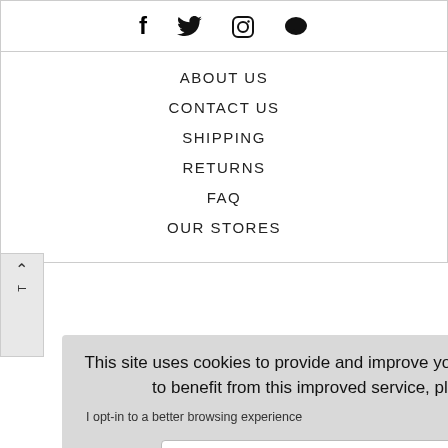[Figure (other): Social media icons: Facebook (f), Twitter (bird), Instagram (camera), Chat bubble]
ABOUT US
CONTACT US
SHIPPING
RETURNS
FAQ
OUR STORES
This site uses cookies to provide and improve your shopping experience. If you want to benefit from this improved service, please opt-in. Cookies Page.
I opt-in to a better browsing experience
ACCEPT COOKIES
UNT
rved.